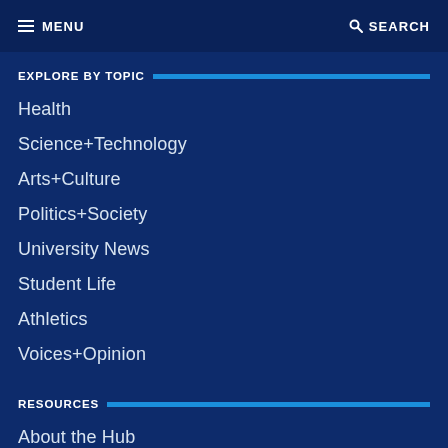MENU   SEARCH
EXPLORE BY TOPIC
Health
Science+Technology
Arts+Culture
Politics+Society
University News
Student Life
Athletics
Voices+Opinion
RESOURCES
About the Hub
Get Email Updates
Events
Submit an Announcement
Submit an Event
Community guidelines